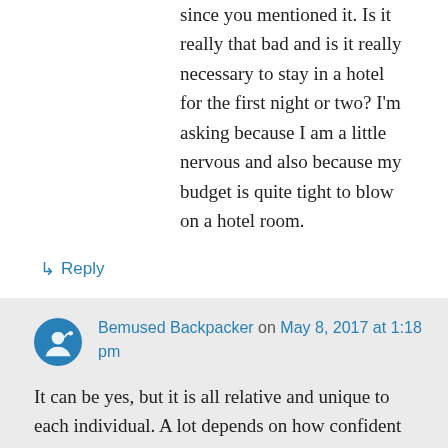since you mentioned it. Is it really that bad and is it really necessary to stay in a hotel for the first night or two? I'm asking because I am a little nervous and also because my budget is quite tight to blow on a hotel room.
↳ Reply
Bemused Backpacker on May 8, 2017 at 1:18 pm
It can be yes, but it is all relative and unique to each individual. A lot depends on how confident you are in new situations, how much you have travelled before and a whole host of other things. And no, you don't have to stay in a hotel room at all, you